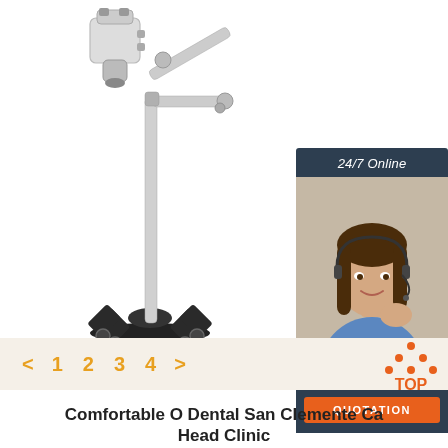[Figure (photo): Dental Microscope 3000B on a wheeled stand with articulated arm and binocular head]
Dental Microscope 3000B
[Figure (infographic): 24/7 Online chat widget with a female customer service representative wearing a headset, with 'Click here for free chat!' text and a QUOTATION button]
< 1 2 3 4 >
[Figure (logo): TOP logo with orange dots arranged as a triangle above the word TOP in orange]
Comfortable O Dental San Clemente Ca Head Clinic